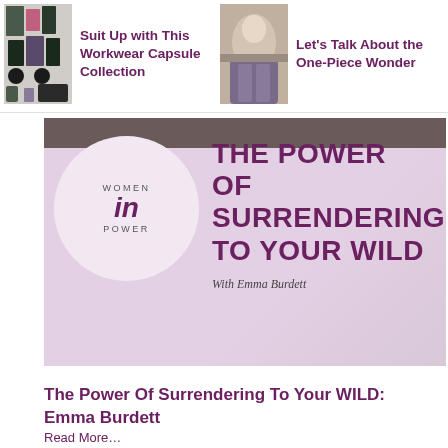[Figure (photo): Thumbnail image of workwear clothing collage]
Suit Up with This Workwear Capsule Collection
[Figure (photo): Thumbnail image of woman in one-piece outfit outdoors]
Let's Talk About the One-Piece Wonder
[Figure (photo): Women in Power podcast banner - The Power of Surrendering to Your Wild with Emma Burdett]
The Power Of Surrendering To Your WILD: Emma Burdett
Read More...